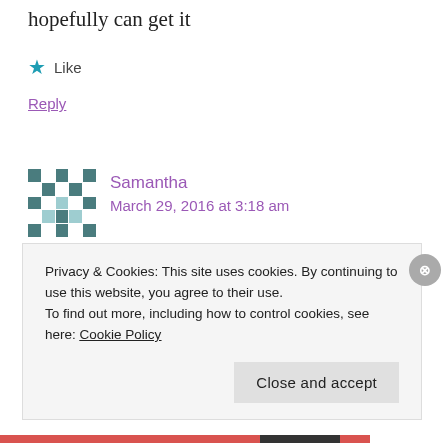hopefully can get it
Like
Reply
Samantha
March 29, 2016 at 3:18 am
Hello.
I'm attending a conference in Ieiu. I plan to travel
Privacy & Cookies: This site uses cookies. By continuing to use this website, you agree to their use.
To find out more, including how to control cookies, see here: Cookie Policy
Close and accept